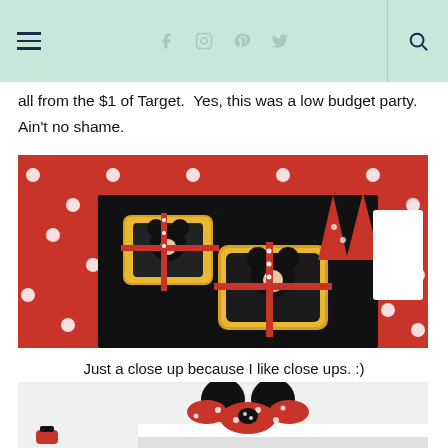Navigation header with hamburger menu, social icons, and search
all from the $1 of Target.  Yes, this was a low budget party.  Ain't no shame.
[Figure (photo): Close-up photo of Mickey Mouse themed party favor tins stacked and tied with red polka dot ribbon, on a black tablecloth over a red polka dot table. Red party hats and other decorations in background.]
Just a close up because I like close ups. :)
[Figure (photo): Photo of Minnie Mouse ears headband with a red polka dot bow tied with black and white polka dot ribbon, displayed on a white shelf. A red treat in the lower left corner.]